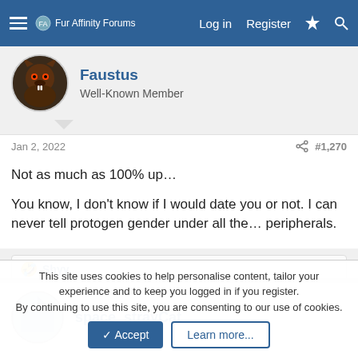Fur Affinity Forums — Log in  Register
Faustus
Well-Known Member
Jan 2, 2022    #1,270
Not as much as 100% up…

You know, I don't know if I would date you or not. I can never tell protogen gender under all the… peripherals.
🤣 Shyy
space_strayCat
This site uses cookies to help personalise content, tailor your experience and to keep you logged in if you register.
By continuing to use this site, you are consenting to our use of cookies.